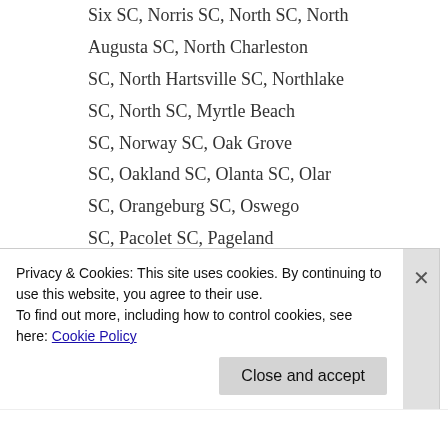Six SC, Norris SC, North SC, North Augusta SC, North Charleston SC, North Hartsville SC, Northlake SC, North SC, Myrtle Beach SC, Norway SC, Oak Grove SC, Oakland SC, Olanta SC, Olar SC, Orangeburg SC, Oswego SC, Pacolet SC, Pageland SC, Pamplico SC, Parker SC, Parksville SC, Parris Island
Privacy & Cookies: This site uses cookies. By continuing to use this website, you agree to their use.
To find out more, including how to control cookies, see here: Cookie Policy